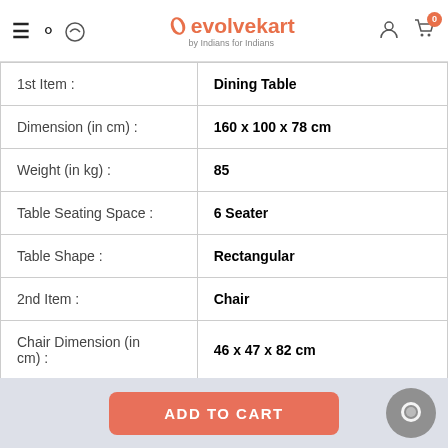evolvekart by Indians for Indians
| 1st Item : | Dining Table |
| Dimension (in cm) : | 160 x 100 x 78 cm |
| Weight (in kg) : | 85 |
| Table Seating Space : | 6 Seater |
| Table Shape : | Rectangular |
| 2nd Item : | Chair |
| Chair Dimension (in cm) : | 46 x 47 x 82 cm |
ADD TO CART